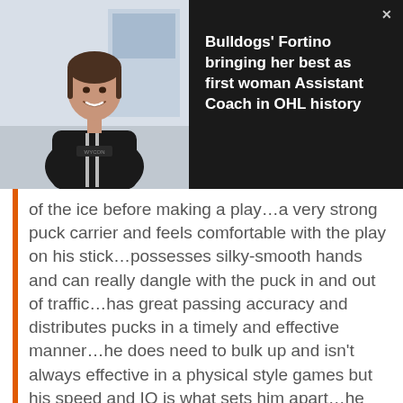[Figure (photo): Photo of a woman in a black hoodie smiling, shown in a dark banner alongside a news headline about Bulldogs' Fortino being the first woman Assistant Coach in OHL history]
Bulldogs' Fortino bringing her best as first woman Assistant Coach in OHL history
of the ice before making a play…a very strong puck carrier and feels comfortable with the play on his stick…possesses silky-smooth hands and can really dangle with the puck in and out of traffic…has great passing accuracy and distributes pucks in a timely and effective manner…he does need to bulk up and isn't always effective in a physical style games but his speed and IQ is what sets him apart…he has top-six offensive upside at the NHL level.